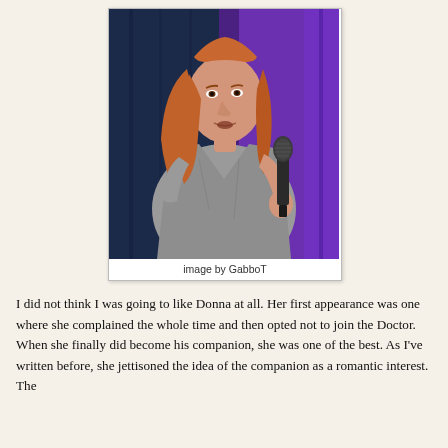[Figure (photo): A red-haired woman in a grey t-shirt holding a microphone, speaking on stage with a dark blue curtain and purple/blue lighting in the background.]
image by GabboT
I did not think I was going to like Donna at all. Her first appearance was one where she complained the whole time and then opted not to join the Doctor. When she finally did become his companion, she was one of the best. As I've written before, she jettisoned the idea of the companion as a romantic interest. The